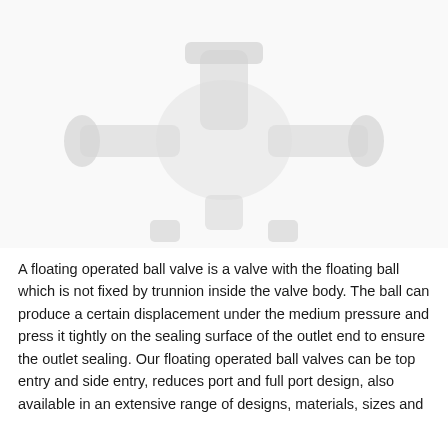[Figure (photo): A floating operated ball valve product photo shown from above/angled view, the valve appears white/light colored against a white background, showing the valve body and handles]
A floating operated ball valve is a valve with the floating ball which is not fixed by trunnion inside the valve body. The ball can produce a certain displacement under the medium pressure and press it tightly on the sealing surface of the outlet end to ensure the outlet sealing. Our floating operated ball valves can be top entry and side entry, reduces port and full port design, also available in an extensive range of designs, materials, sizes and